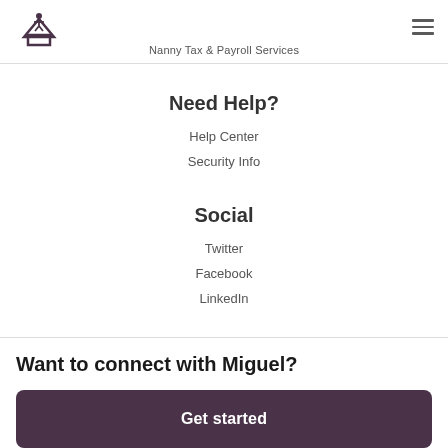[Figure (logo): Home care / nanny service logo: house with figure on roof]
Nanny Tax & Payroll Services
Need Help?
Help Center
Security Info
Social
Twitter
Facebook
LinkedIn
Want to connect with Miguel?
Get started